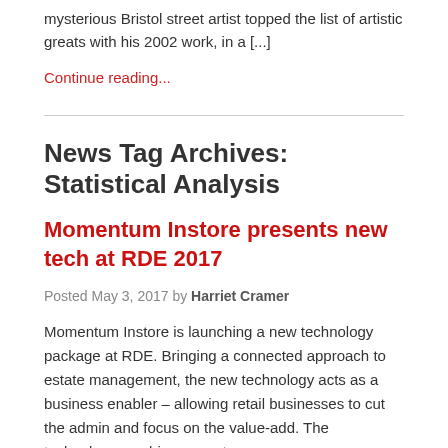mysterious Bristol street artist topped the list of artistic greats with his 2002 work, in a [...]
Continue reading...
News Tag Archives: Statistical Analysis
Momentum Instore presents new tech at RDE 2017
Posted May 3, 2017 by Harriet Cramer
Momentum Instore is launching a new technology package at RDE. Bringing a connected approach to estate management, the new technology acts as a business enabler – allowing retail businesses to cut the admin and focus on the value-add. The technology combines smart